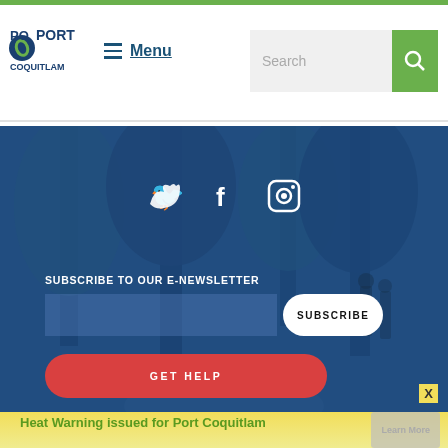[Figure (screenshot): Port Coquitlam city website header with logo, Menu link, and Search bar with green search button]
[Figure (photo): Blue-tinted photo of a tree-lined park path with people walking, used as background for newsletter subscription section]
SUBSCRIBE TO OUR E-NEWSLETTER
SUBSCRIBE
GET HELP
X
Heat Warning issued for Port Coquitlam
Learn More